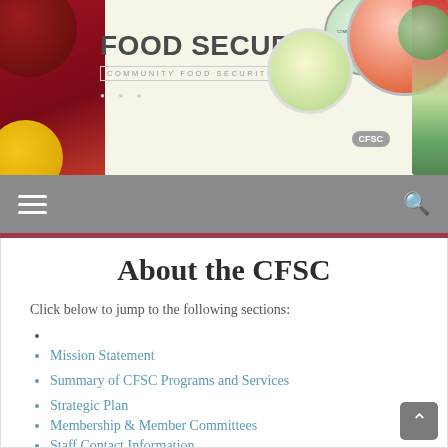[Figure (screenshot): Community Food Security Coalition website banner with food imagery, bowls of colorful food, vegetables, and the text FOOD SECURITY and COMMUNITY FOOD SECURITY COALITION]
[Figure (screenshot): Navigation bar with hamburger menu icon on left and search icon on right, gray background]
About the CFSC
Click below to jump to the following sections:
Mission Statement
Summary of CFSC Programs and Services
Strategic Plan
Membership & Member Committees
Staff Contact Information
Board of Directors Contact Information